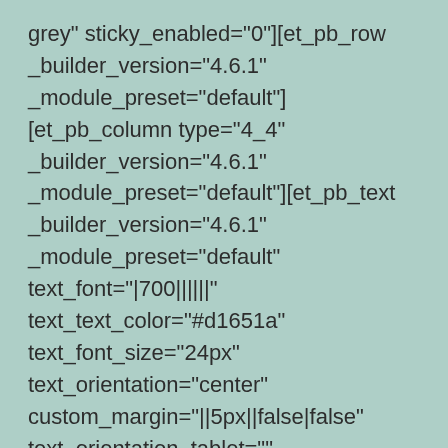grey" sticky_enabled="0"][et_pb_row _builder_version="4.6.1" _module_preset="default"][et_pb_column type="4_4" _builder_version="4.6.1" _module_preset="default"][et_pb_text _builder_version="4.6.1" _module_preset="default" text_font="|700||||||" text_text_color="#d1651a" text_font_size="24px" text_orientation="center" custom_margin="||5px||false|false" text_orientation_tablet="" text_orientation_phone="center" text_orientation_last_edited="on|phone"]